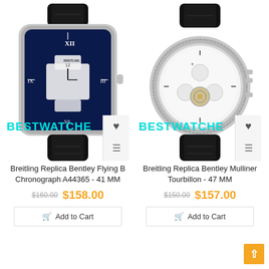[Figure (photo): Breitling Replica Bentley Flying B Chronograph A44365 watch with blue dial, silver case, black leather strap, BESTWATCHE watermark overlay, heart and filter icons panel]
[Figure (photo): Breitling Replica Bentley Mulliner Tourbillon 47MM watch with white dial, silver case, black leather strap, BESTWATCHE watermark overlay, heart and filter icons panel]
Breitling Replica Bentley Flying B Chronograph A44365 - 41 MM
Breitling Replica Bentley Mulliner Tourbillon - 47 MM
$160.00  $158.00
$150.00  $157.00
Add to Cart
Add to Cart